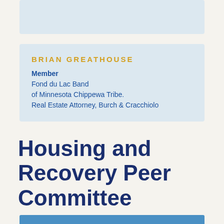BRIAN GREATHOUSE
Member
Fond du Lac Band of Minnesota Chippewa Tribe. Real Estate Attorney, Burch & Cracchiolo
Housing and Recovery Peer Committee